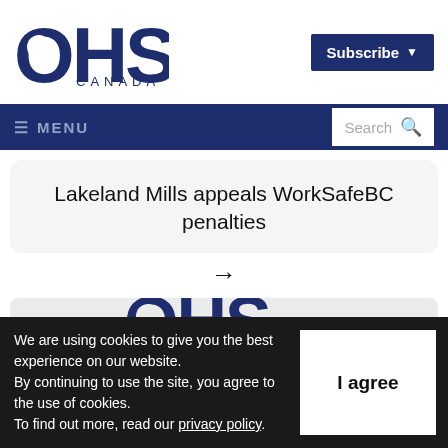[Figure (logo): OHS Canada logo — large bold navy letters OHS with CANADA below in spaced caps]
[Figure (screenshot): Subscribe button — dark navy background with white bold text 'Subscribe' and a dropdown arrow]
≡ MENU
Lakeland Mills appeals WorkSafeBC penalties
→
[Figure (logo): Partial OHS Canada logo visible at bottom of page in a grey card]
We are using cookies to give you the best experience on our website.
By continuing to use the site, you agree to the use of cookies.
To find out more, read our privacy policy.